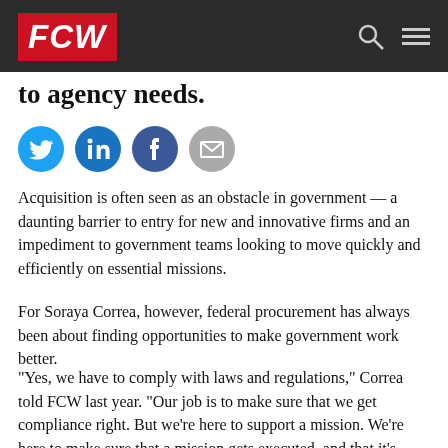FCW
to agency needs.
[Figure (infographic): Social sharing icons: Twitter (blue circle), LinkedIn (dark blue circle), Facebook (dark blue circle), Email (gray circle)]
Acquisition is often seen as an obstacle in government — a daunting barrier to entry for new and innovative firms and an impediment to government teams looking to move quickly and efficiently on essential missions.
For Soraya Correa, however, federal procurement has always been about finding opportunities to make government work better.
"Yes, we have to comply with laws and regulations," Correa told FCW last year. "Our job is to make sure that we get compliance right. But we're here to support a mission. We're here to make sure that a mission gets executed, and that it's done right. And we can balance those two things. We can make those two things happen."